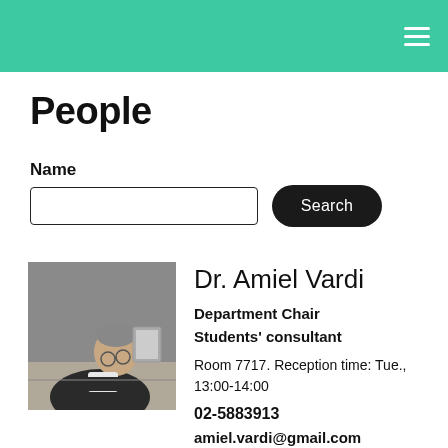People
Name
Search
[Figure (photo): Black and white photo of Dr. Amiel Vardi, a man leaning over a desk]
Dr. Amiel Vardi
Department Chair
Students' consultant
Room 7717. Reception time: Tue., 13:00-14:00
02-5883913
amiel.vardi@gmail.com